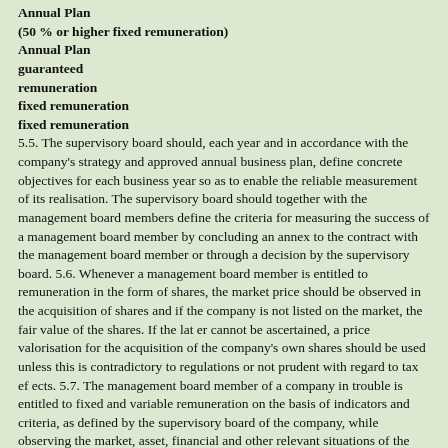Annual Plan
(50 % or higher fixed remuneration)
Annual Plan
guaranteed
remuneration
fixed remuneration
fixed remuneration
5.5. The supervisory board should, each year and in accordance with the company's strategy and approved annual business plan, define concrete objectives for each business year so as to enable the reliable measurement of its realisation. The supervisory board should together with the management board members define the criteria for measuring the success of a management board member by concluding an annex to the contract with the management board member or through a decision by the supervisory board. 5.6. Whenever a management board member is entitled to remuneration in the form of shares, the market price should be observed in the acquisition of shares and if the company is not listed on the market, the fair value of the shares. If the lat er cannot be ascertained, a price valorisation for the acquisition of the company's own shares should be used unless this is contradictory to regulations or not prudent with regard to tax ef ects. 5.7. The management board member of a company in trouble is entitled to fixed and variable remuneration on the basis of indicators and criteria, as defined by the supervisory board of the company, while observing the market, asset, financial and other relevant situations of the company, company objectives and plan for rescuing the company from the crisis.
Fixed remunerations
5.8. Fixed remunerations consist of fixed monetary payments and fixed fringe benefits. 5.9. The remuneration board should be able